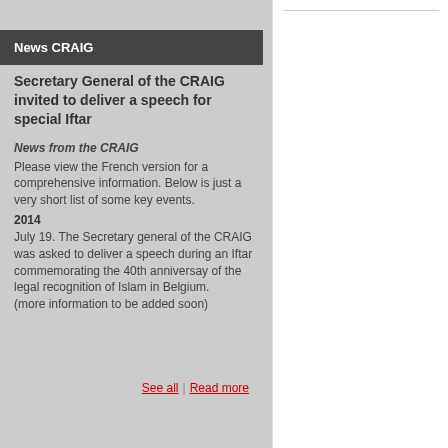News CRAIG
Secretary General of the CRAIG invited to deliver a speech for special Iftar
News from the CRAIG
Please view the French version for a comprehensive information. Below is just a very short list of some key events.
2014
July 19. The Secretary general of the CRAIG was asked to deliver a speech during an Iftar commemorating the 40th anniversay of the legal recognition of Islam in Belgium.
(more information to be added soon)
See all | Read more